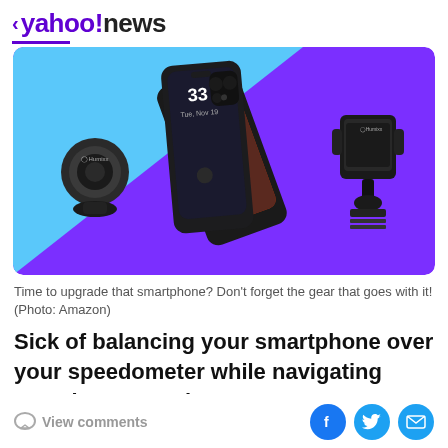< yahoo!news
[Figure (photo): Product image showing smartphone accessories: a magnetic phone mount on the left, two iPhones with cases in the center, and a car phone mount on the right, on a blue and purple background]
Time to upgrade that smartphone? Don't forget the gear that goes with it! (Photo: Amazon)
Sick of balancing your smartphone over your speedometer while navigating Google Maps? There's a
View comments